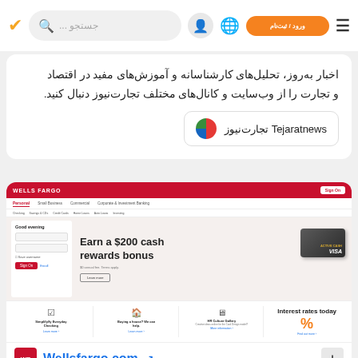Navigation bar with search, profile, globe, orange button, and menu
اخبار به‌روز، تحلیل‌های کارشناسانه و آموزش‌های مفید در اقتصاد و تجارت را از وب‌سایت و کانال‌های مختلف تجارت‌نیوز دنبال کنید.
Tejaratnews تجارت‌نیوز
[Figure (screenshot): Wells Fargo website screenshot showing the homepage with red header bar, navigation tabs, sign-in form, and promotional banner 'Earn a $200 cash rewards bonus - $0 annual fee. Terms apply.' with a credit card image, plus icons for Simplify/Everyday Checking, Buying a house, HR Culture Gallery, and interest rates.]
Wellsfargo.com